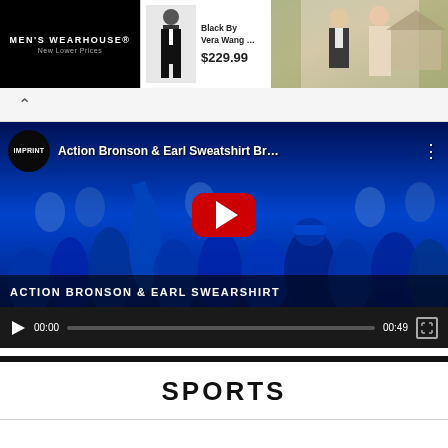[Figure (screenshot): Men's Wearhouse advertisement banner with product photo of tuxedo, text 'Black By Vera Wang...' and price '$229.99', wedding couple photo on right]
[Figure (screenshot): YouTube video player showing Action Bronson & Earl Swearshirt Br... with crowd in blue lighting, IMPRINT channel logo, red play button, controls showing 00:00 / 00:49]
SPORTS